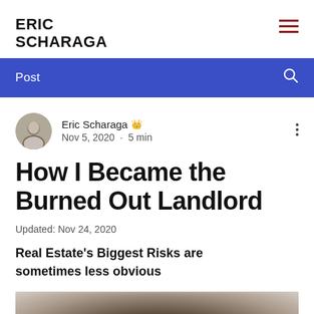ERIC SCHARAGA
Post
[Figure (photo): Author avatar – circular headshot of Eric Scharaga]
Eric Scharaga 👑
Nov 5, 2020 · 5 min
How I Became the Burned Out Landlord
Updated: Nov 24, 2020
Real Estate's Biggest Risks are sometimes less obvious
[Figure (photo): Blurred background image at the bottom of the article page]